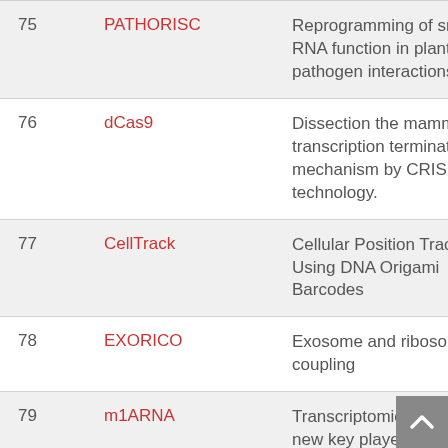| # | Name | Description |
| --- | --- | --- |
| 75 | PATHORISC | Reprogramming of small RNA function in plant-pathogen interactions |
| 76 | dCas9 | Dissection of the mammalian transcription termination mechanism by CRISPRi technology. |
| 77 | CellTrack | Cellular Position Tracking Using DNA Origami Barcodes |
| 78 | EXORICO | Exosome and ribosome coupling |
| 79 | m1ARNA | Transcriptomic m1A - a new key player in the... |